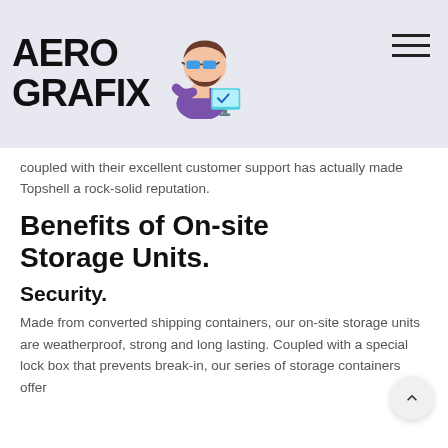[Figure (logo): Aero Grafix logo with bold black text 'AERO GRAFIX' and a cartoon mascot of a bearded man with sunglasses sitting at a computer]
coupled with their excellent customer support has actually made Topshell a rock-solid reputation.
Benefits of On-site Storage Units.
Security.
Made from converted shipping containers, our on-site storage units are weatherproof, strong and long lasting. Coupled with a special lock box that prevents break-in, our series of storage containers offer